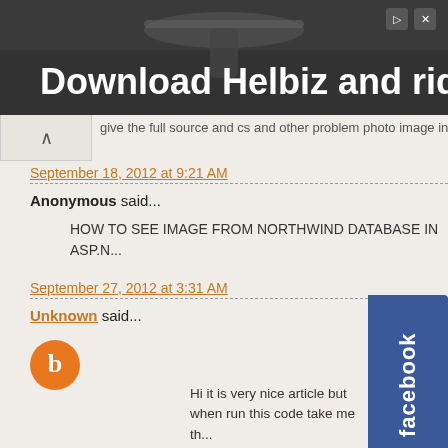[Figure (photo): Advertisement banner for Helbiz scooter app with dark background showing bicycle handlebars]
give the full source and cs and other problem photo image in dime...
September 18, 2012 at 9:21 AM
Anonymous said...
HOW TO SEE IMAGE FROM NORTHWIND DATABASE IN ASP.N...
September 27, 2012 at 3:31 AM
Unknown said...
Hi it is very nice article but when run this code take me th...
"
Cannot insert the value NULL into column 'ImageId', table...
INSERT fails.
The statement has been terminated."
please what i can do
thanks alot
[Figure (logo): Facebook sidebar tab widget in blue]